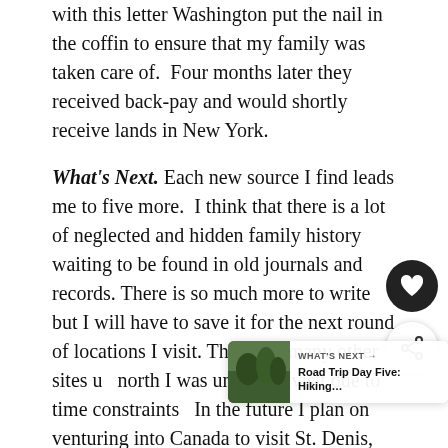with this letter Washington put the nail in the coffin to ensure that my family was taken care of.  Four months later they received back-pay and would shortly receive lands in New York.
What's Next. Each new source I find leads me to five more.  I think that there is a lot of neglected and hidden family history waiting to be found in old journals and records. There is so much more to write but I will have to save it for the next round of locations I visit. There are many other sites up north I was unable to visit due to time constraints.  In the future I plan on venturing into Canada to visit St. Denis, where the family made their home before fleeing.  The Depot at Fishkill, not in the park system, is under threat of disappearing.  And